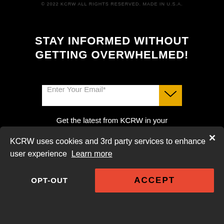© 2022 KCRW ALL RIGHTS RESERVED. MADE IN U.S.A.
STAY INFORMED WITHOUT GETTING OVERWHELMED!
Enter Your Email*
Get the latest from KCRW in your inbox 3x a week.
[Figure (screenshot): Download on the App Store button]
KCRW uses cookies and 3rd party services to enhance user experience Learn more
OPT-OUT
ACCEPT